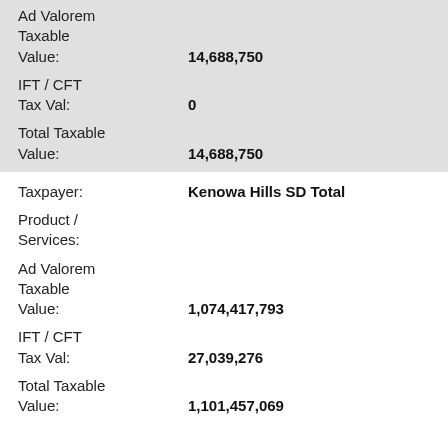Ad Valorem Taxable Value: 14,688,750
IFT / CFT Tax Val: 0
Total Taxable Value: 14,688,750
Taxpayer: Kenowa Hills SD Total
Product / Services:
Ad Valorem Taxable Value: 1,074,417,793
IFT / CFT Tax Val: 27,039,276
Total Taxable Value: 1,101,457,069